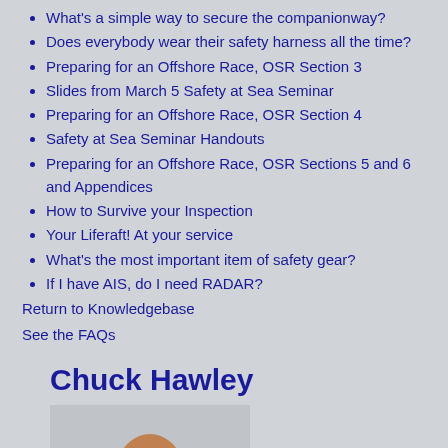What's a simple way to secure the companionway?
Does everybody wear their safety harness all the time?
Preparing for an Offshore Race, OSR Section 3
Slides from March 5 Safety at Sea Seminar
Preparing for an Offshore Race, OSR Section 4
Safety at Sea Seminar Handouts
Preparing for an Offshore Race, OSR Sections 5 and 6 and Appendices
How to Survive your Inspection
Your Liferaft! At your service
What's the most important item of safety gear?
If I have AIS, do I need RADAR?
Return to Knowledgebase
See the FAQs
Chuck Hawley
[Figure (photo): Headshot photo of Chuck Hawley]